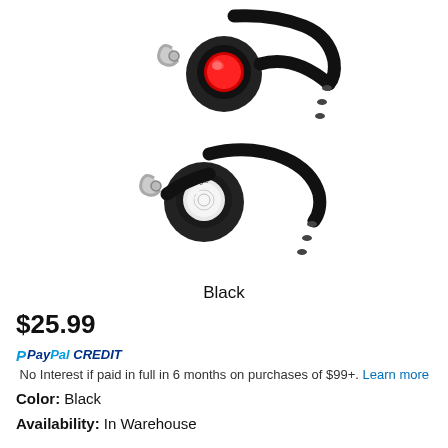[Figure (photo): Two bicycle lights (a red rear light on top and a white front light on bottom), both black with mounting brackets, shown on white background.]
Black
$25.99
PayPal CREDIT  No Interest if paid in full in 6 months on purchases of $99+. Learn more
Color:  Black
Availability:  In Warehouse